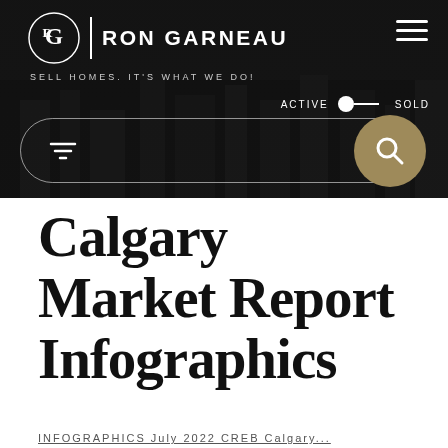[Figure (screenshot): Ron Garneau real estate website header. Dark/black background with circular logo (stylized RG letters) and text RON GARNEAU. Tagline: SELL HOMES. IT'S WHAT WE DO! Active/Sold toggle switch. Search bar with filter icon and gold search button.]
Calgary Market Report Infographics
INFOGRAPHICS July 2022 CREB Calgary...